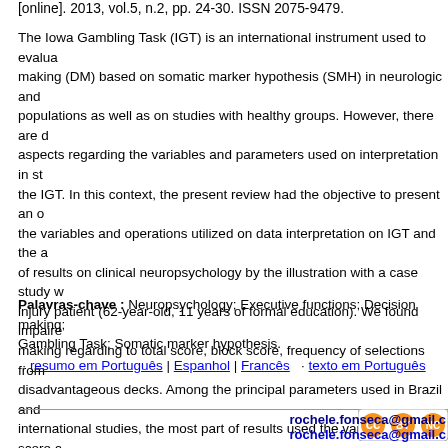[online]. 2013, vol.5, n.2, pp. 24-30. ISSN 2075-9479.
The Iowa Gambling Task (IGT) is an international instrument used to evaluate decision making (DM) based on somatic marker hypothesis (SMH) in neurologic and psychiatric populations as well as on studies with healthy groups. However, there are divergent aspects regarding the variables and parameters used on interpretation in studies about the IGT. In this context, the present review had the objective to present an overview of the variables and operations utilized on data interpretation on IGT and the application of results on clinical neuropsychology by the illustration with a case study with a brain injury patient (62-year-old, 11 years of formal education). We found impaired decision making regarding to total score, block score, frequency of selections from advantageous and disadvantageous decks. Among the principal parameters used in Brazil and in the international studies, the most part of results used the variables total score and block score. Differences were found regarding the task performance classification and the use of new measures on IGT. We highlight the importance of normative data for the IGT in a national context.
Palavras-chave : Neuropsychology; Executive functions; Decision making; Iowa Gambling Task; Somatic marker hypothesis.
· resumo em Português | Espanhol | Francês · texto em Português
[Figure (logo): Creative Commons CC BY-NC license badge]
rochele.fonseca@gmail.com rochele.fonseca@gmail.com